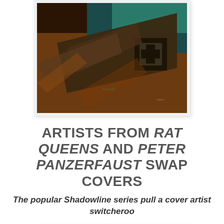[Figure (photo): Comic book cover art showing dark military/war themed imagery with a cross symbol, brown and dark tones, appears to be a Peter Panzerfaust cover]
ARTISTS FROM RAT QUEENS AND PETER PANZERFAUST SWAP COVERS
The popular Shadowline series pull a cover artist switcheroo
[Figure (photo): Comic book cover showing Rat Queens logo with heart symbol and flame, light blue/white background]